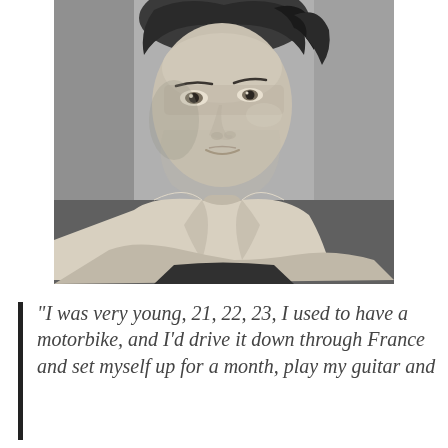[Figure (photo): Black and white portrait photograph of a young man with tousled hair, wearing an open collared shirt, leaning forward and looking at the camera]
“I was very young, 21, 22, 23, I used to have a motorbike, and I’d drive it down through France and set myself up for a month, play my guitar and